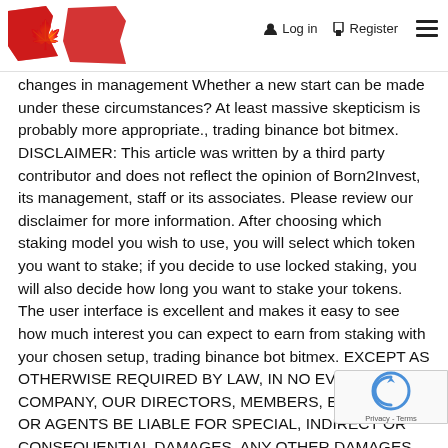Log in  Register
[Figure (logo): Canadian flag-styled logo with maple leaf, red and white colors]
changes in management Whether a new start can be made under these circumstances? At least massive skepticism is probably more appropriate., trading binance bot bitmex. DISCLAIMER: This article was written by a third party contributor and does not reflect the opinion of Born2Invest, its management, staff or its associates. Please review our disclaimer for more information. After choosing which staking model you wish to use, you will select which token you want to stake; if you decide to use locked staking, you will also decide how long you want to stake your tokens. The user interface is excellent and makes it easy to see how much interest you can expect to earn from staking with your chosen setup, trading binance bot bitmex. EXCEPT AS OTHERWISE REQUIRED BY LAW, IN NO EVENT SHALL COMPANY, OUR DIRECTORS, MEMBERS, EMPLOYEES OR AGENTS BE LIABLE FOR SPECIAL, INDIRECT OR CONSEQUENTIAL DAMAGES, ANY OTHER DAMAGES OF ANY KIND, INCLUDING BUT